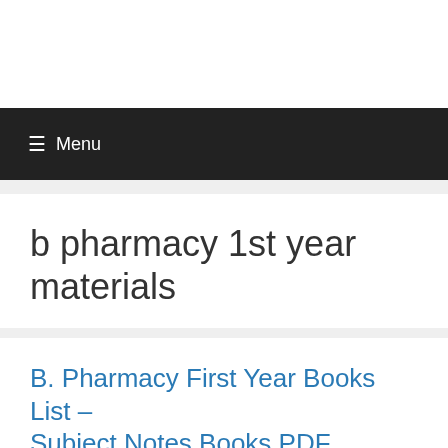Menu
b pharmacy 1st year materials
B. Pharmacy First Year Books List – Subject Notes Books PDF
October 18, 2017 by P…